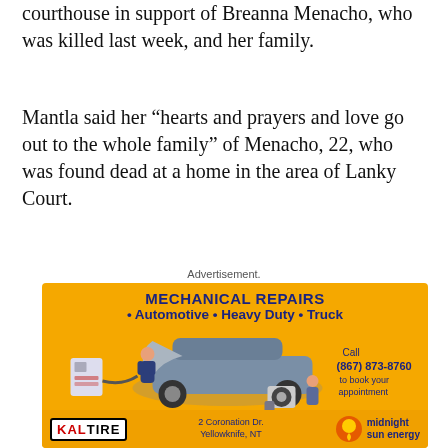courthouse in support of Breanna Menacho, who was killed last week, and her family.
Mantla said her “hearts and prayers and love go out to the whole family” of Menacho, 22, who was found dead at a home in the area of Lanky Court.
Advertisement.
[Figure (illustration): Advertisement for KAL TIRE and Midnight Sun Energy featuring MECHANICAL REPAIRS - Automotive, Heavy Duty, Truck. Shows illustration of a mechanic working on a car with hood open, tire changing equipment, and a call to action: Call (867) 873-8760 to book your appointment. Located at 2 Coronation Dr., Yellowknife, NT. Orange/yellow background.]